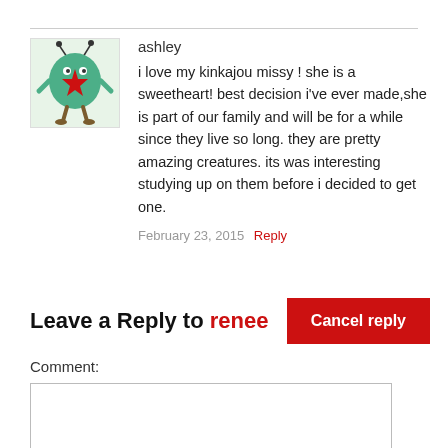[Figure (illustration): Cartoon avatar of a green monster/creature with red star on belly, antennae, and brown legs on light green background]
ashley
i love my kinkajou missy ! she is a sweetheart! best decision i've ever made,she is part of our family and will be for a while since they live so long. they are pretty amazing creatures. its was interesting studying up on them before i decided to get one.
February 23, 2015  Reply
Leave a Reply to renee
Cancel reply
Comment: